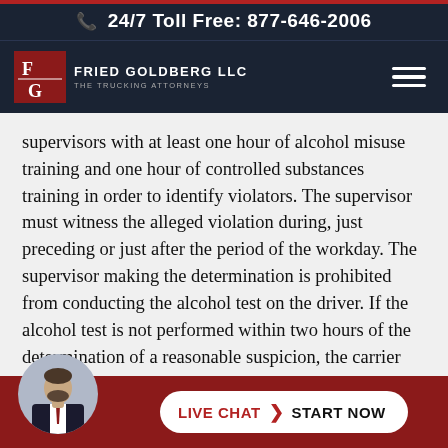24/7 Toll Free: 877-646-2006
[Figure (logo): Fried Goldberg LLC - The Trucking Attorneys logo with FG emblem on dark navy background]
supervisors with at least one hour of alcohol misuse training and one hour of controlled substances training in order to identify violators. The supervisor must witness the alleged violation during, just preceding or just after the period of the workday. The supervisor making the determination is prohibited from conducting the alcohol test on the driver. If the alcohol test is not performed within two hours of the determination of a reasonable suspicion, the carrier must prepare and maintain a record stating the reasons the
[Figure (photo): Live chat widget with attorney photo avatar, showing LIVE CHAT START NOW button on dark red background]